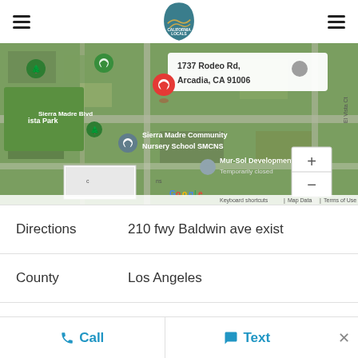[Figure (screenshot): California Locals app header with hamburger menus on both sides and logo in center]
[Figure (map): Google Maps satellite view showing 1737 Rodeo Rd, Arcadia, CA 91006 with red pin marker, Sierra Madre Community Nursery School SMCNS, Mur-Sol Development (Temporarily closed), Sierra Madre Blvd, zoom controls, and map attribution]
Directions	210 fwy Baldwin ave exist
County	Los Angeles
Call   Text